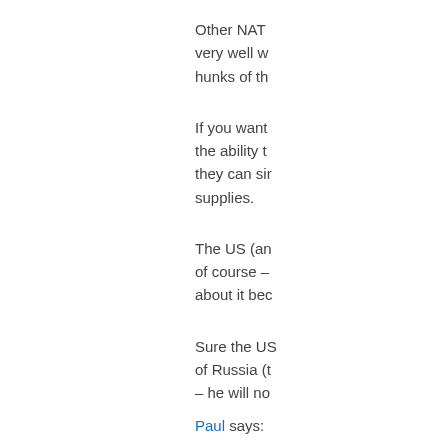Other NAT very well w hunks of th
If you want the ability t they can sir supplies.
The US (an of course – about it bec
Sure the US of Russia (t – he will no
Paul says: